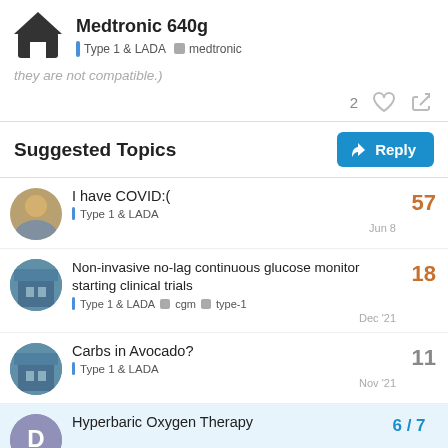Medtronic 640g | Type 1 & LADA | medtronic
they are not compatible.)
2 ♡ 🔗
Suggested Topics
I have COVID:( — Type 1 & LADA — 57 replies — Jun 8
Non-invasive no-lag continuous glucose monitor starting clinical trials — Type 1 & LADA, cgm, type-1 — 18 replies — Dec '21
Carbs in Avocado? — Type 1 & LADA — 11 replies — Nov '21
Hyperbaric Oxygen Therapy — 6 / 7